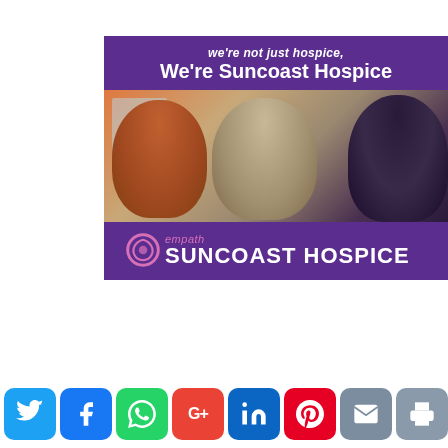[Figure (infographic): Suncoast Hospice advertisement showing three women sitting together (caregiver consultation), with purple header text 'we're not just hospice, We're Suncoast Hospice' and footer with empath Suncoast Hospice logo on purple background.]
[Figure (infographic): Second Suncoast Hospice banner with purple background showing a figure and the word 'STRUGGLING' in large white bold text.]
[Figure (infographic): Social media sharing bar with buttons for Twitter, Facebook, WhatsApp, Google+, LinkedIn, Pinterest, Email, Print, and a scroll-to-top button.]